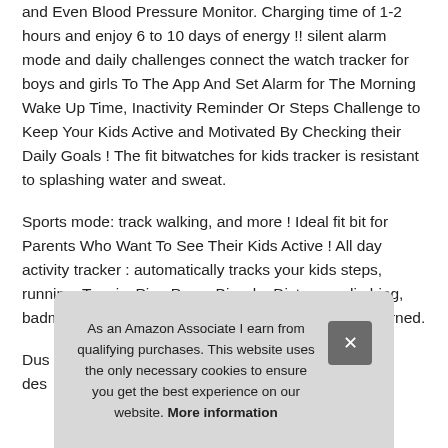and Even Blood Pressure Monitor. Charging time of 1-2 hours and enjoy 6 to 10 days of energy !! silent alarm mode and daily challenges connect the watch tracker for boys and girls To The App And Set Alarm for The Morning Wake Up Time, Inactivity Reminder Or Steps Challenge to Keep Your Kids Active and Motivated By Checking their Daily Goals ! The fit bitwatches for kids tracker is resistant to splashing water and sweat.
Sports mode: track walking, and more ! Ideal fit bit for Parents Who Want To See Their Kids Active ! All day activity tracker : automatically tracks your kids steps, running, Tennis, Ping Pong, Bicycle, Distance, climbing, badminton, Jump Rope, Activity Time and Calories burned.
Dus... des...
As an Amazon Associate I earn from qualifying purchases. This website uses the only necessary cookies to ensure you get the best experience on our website. More information